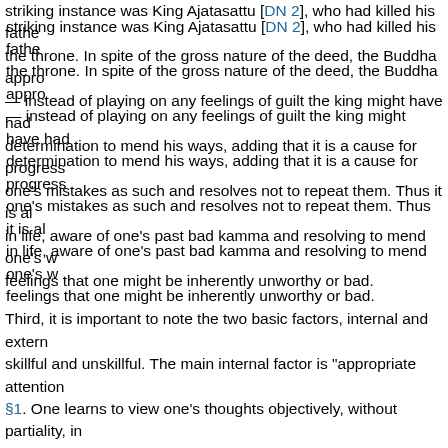striking instance was King Ajatasattu [DN 2], who had killed his father to gain the throne. In spite of the gross nature of the deed, the Buddha appro — instead of playing on any feelings of guilt the king might have had — his determination to mend his ways, adding that it is a cause for progress when one recognizes one's mistakes as such and resolves not to repeat them. Thus it is always possible in life, aware of one's past bad kamma and resolving to mend one's ways, without feelings that one might be inherently unworthy or bad.
Third, it is important to note the two basic factors, internal and external, leading to skillful and unskillful. The main internal factor is "appropriate attention" discussed in §1. One learns to view one's thoughts objectively, without partiality, in terms of their consequences. As this factor develops from a sense of conviction in the Dhamma, it turns into the ability to view all of experience in terms of the four noble...
The main external factor is friendship with admirable people [§54], de principle of kamma. From their teachings, one can learn the advisabil in the first place; in their behavior, one can see skillfulness in action. reinforce one another, in that skillful attitudes lead one to seek out ad admirable people lead one by word and example to see the less obvi attitudes. Fortunately, every human being alive has some skillful qual access to people who are admirable on at least some level. Thus no Buddhist path is starting from scratch. Rather, each person is advised that have already been present and to search for further opportunities direction.